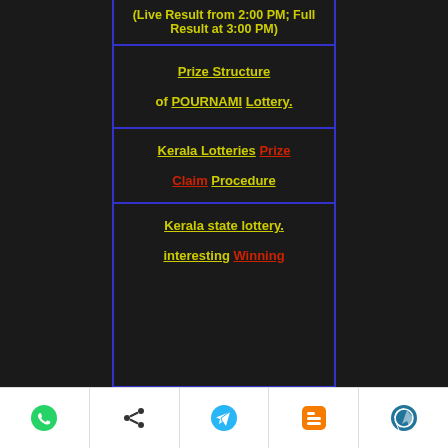(Live Result from 2:00 PM; Full Result at 3:00 PM)
Prize Structure of POURNAMI Lottery.
Kerala Lotteries Prize Claim Procedure
Kerala state lottery interesting Winning
[Figure (infographic): Bottom navigation bar with 5 social/share icons: WhatsApp (green), Share (dark), Telegram (blue), Blogger (orange), WordPress (blue/grey)]